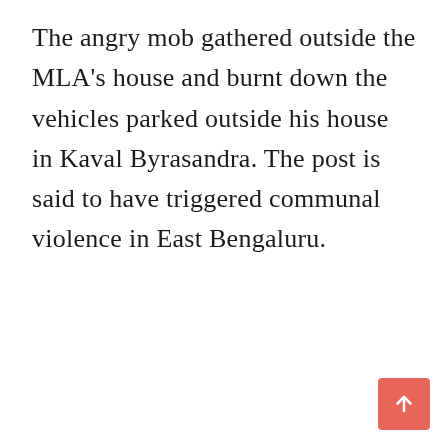The angry mob gathered outside the MLA's house and burnt down the vehicles parked outside his house in Kaval Byrasandra. The post is said to have triggered communal violence in East Bengaluru.